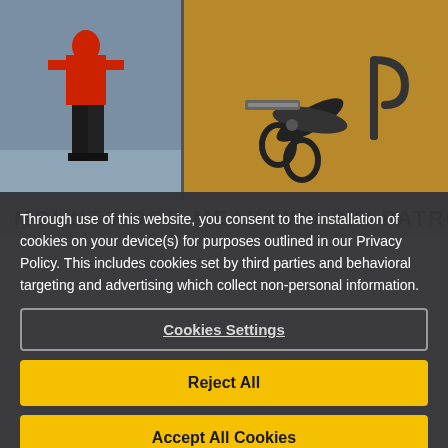[Figure (photo): Left: person in red jacket and black pants standing on snow/ice. Right: medical scissors and hook tools laid on a wooden surface.]
MOUNT HOOD MEADOWS SKI PATROL
Through use of this website, you consent to the installation of cookies on your device(s) for purposes outlined in our Privacy Policy. This includes cookies set by third parties and behavioral targeting and advertising which collect non-personal information.
Cookies Settings
Reject All
Accept All Cookies